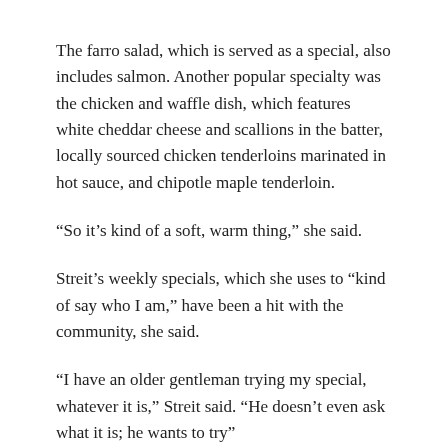The farro salad, which is served as a special, also includes salmon. Another popular specialty was the chicken and waffle dish, which features white cheddar cheese and scallions in the batter, locally sourced chicken tenderloins marinated in hot sauce, and chipotle maple tenderloin.
“So it’s kind of a soft, warm thing,” she said.
Streit’s weekly specials, which she uses to “kind of say who I am,” have been a hit with the community, she said.
“I have an older gentleman trying my special, whatever it is,” Streit said. “He doesn’t even ask what it is; he wants to try”
Manchester Diner, 112 Adrian St. in Manchester, is open 8 a.m. to 2 p.m. Wednesday through Sunday. Find the restaurant on social media or by phone at 734-428-0721.